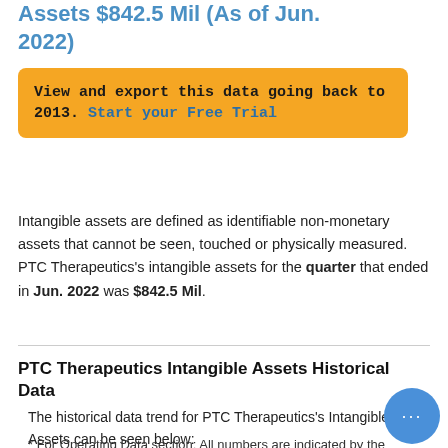Assets $842.5 Mil (As of Jun. 2022)
View and export this data going back to 2013. Start your Free Trial
Intangible assets are defined as identifiable non-monetary assets that cannot be seen, touched or physically measured. PTC Therapeutics's intangible assets for the quarter that ended in Jun. 2022 was $842.5 Mil.
PTC Therapeutics Intangible Assets Historical Data
The historical data trend for PTC Therapeutics's Intangible Assets can be seen below:
* For Operating Data section: All numbers are indicated by the unit behind each term and all currency related amount